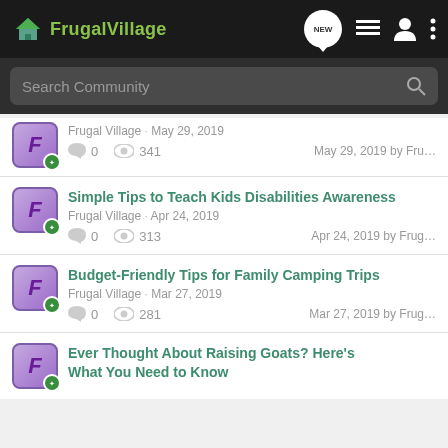FrugalVillage
Search Community
Frugal Village · May 29, 2019 | 0 comments | 341 views | May 29, 2019 by Fru...
Simple Tips to Teach Kids Disabilities Awareness | Frugal Village · Apr 24, 2019 | 0 comments | 313 views | Apr 24, 2019 by Frug...
Budget-Friendly Tips for Family Camping Trips | Frugal Village · Mar 27, 2019 | 0 comments | 281 views | Mar 27, 2019 by Frug...
Ever Thought About Raising Goats? Here's What You Need to Know